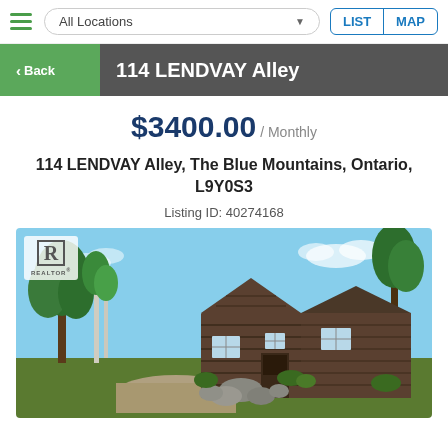All Locations | LIST | MAP
114 LENDVAY Alley
$3400.00 / Monthly
114 LENDVAY Alley, The Blue Mountains, Ontario, L9Y0S3
Listing ID: 40274168
[Figure (photo): Exterior photo of a rustic wood-sided cottage-style house with trees in the background, blue sky. Realtor logo badge in top-left corner.]